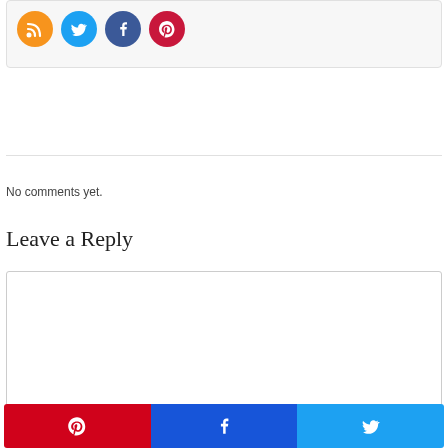[Figure (infographic): Social media icons row: RSS (orange), Twitter (blue), Facebook (dark blue), Pinterest (red/pink), displayed as circular icon buttons on a light gray card]
No comments yet.
Leave a Reply
[Figure (other): Empty comment text area input box with border]
[Figure (infographic): Three share buttons at bottom: Pinterest (red), Facebook (blue), Twitter (light blue), each with their respective social media icons]